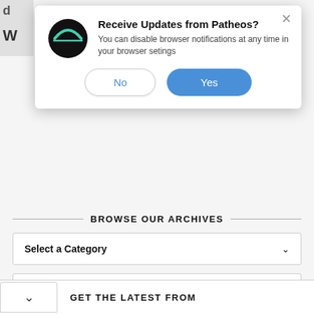[Figure (screenshot): Browser notification popup for Patheos website with 'No' and 'Yes' buttons]
BROWSE OUR ARCHIVES
Select a Category
Select a Month
GET THE LATEST FROM